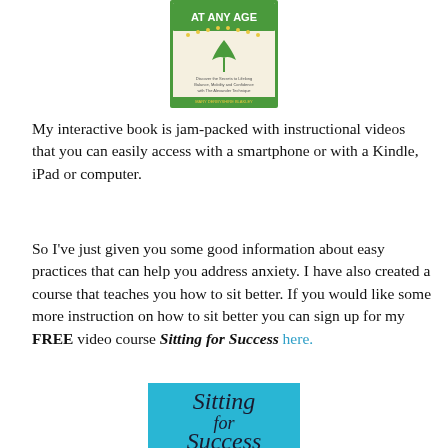[Figure (illustration): Book cover showing 'AT ANY AGE' title with green tree and figure illustration, subtitle about lifelong balance, mobility and confidence with the Alexander Technique]
My interactive book is jam-packed with instructional videos that you can easily access with a smartphone or with a Kindle, iPad or computer.
So I've just given you some good information about easy practices that can help you address anxiety. I have also created a course that teaches you how to sit better. If you would like some more instruction on how to sit better you can sign up for my FREE video course Sitting for Success here.
[Figure (illustration): Cyan/turquoise book cover with cursive text reading 'Sitting for Success']